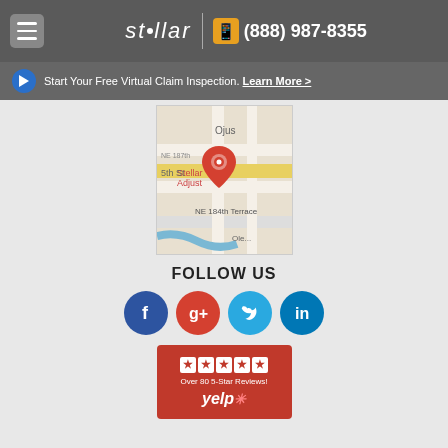stellar | (888) 987-8355
Start Your Free Virtual Claim Inspection. Learn More >
[Figure (map): Google Maps screenshot showing location of Stellar Adjustment near NE 184th Terrace, Ojus area, with a red pin marker.]
FOLLOW US
[Figure (infographic): Social media icons: Facebook (blue), Google+ (red), Twitter (light blue), LinkedIn (dark blue)]
[Figure (infographic): Yelp badge showing 5 stars and text 'Over 80 5-Star Reviews!' with Yelp logo on red background]